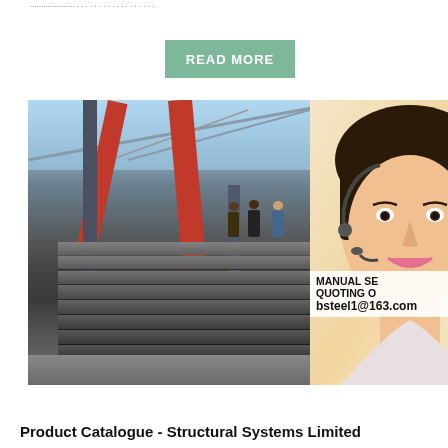... ... ... ...
READ MORE
[Figure (photo): Steel plates stacked in a large industrial warehouse with red structural beams, workers standing in background, and a customer service representative photo overlay with contact icons (headset, phone, Skype) and text: MANUAL SE... QUOTING O... bsteel1@163.com]
Product Catalogue - Structural Systems Limited